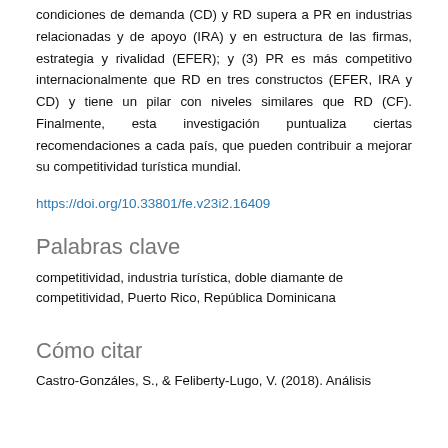condiciones de demanda (CD) y RD supera a PR en industrias relacionadas y de apoyo (IRA) y en estructura de las firmas, estrategia y rivalidad (EFER); y (3) PR es más competitivo internacionalmente que RD en tres constructos (EFER, IRA y CD) y tiene un pilar con niveles similares que RD (CF). Finalmente, esta investigación puntualiza ciertas recomendaciones a cada país, que pueden contribuir a mejorar su competitividad turística mundial.
https://doi.org/10.33801/fe.v23i2.16409
Palabras clave
competitividad, industria turística, doble diamante de competitividad, Puerto Rico, República Dominicana
Cómo citar
Castro-Gonzáles, S., & Feliberty-Lugo, V. (2018). Análisis